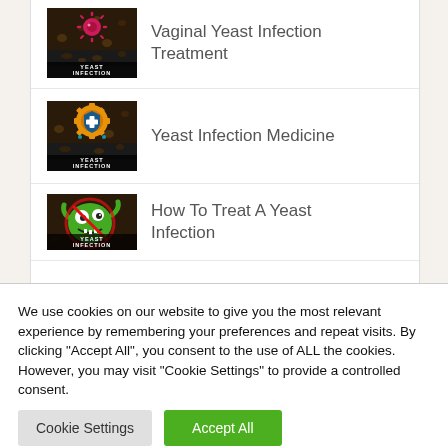Vaginal Yeast Infection Treatment
Yeast Infection Medicine
How To Treat A Yeast Infection
We use cookies on our website to give you the most relevant experience by remembering your preferences and repeat visits. By clicking "Accept All", you consent to the use of ALL the cookies. However, you may visit "Cookie Settings" to provide a controlled consent.
Cookie Settings
Accept All